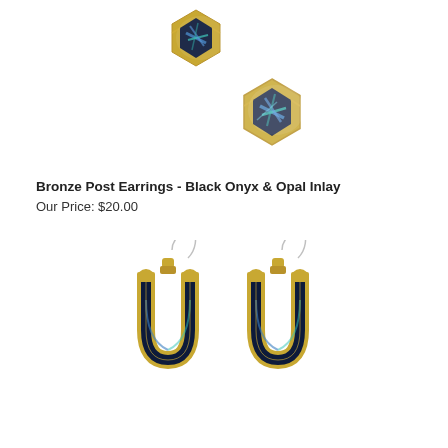[Figure (photo): Two gold-framed hexagonal stud earrings with black onyx and opal inlay showing blue-green iridescent streaks, displayed as a pair against white background — one earring slightly above and to the left, the other below and to the right.]
Bronze Post Earrings - Black Onyx & Opal Inlay
Our Price: $20.00
[Figure (photo): A pair of gold horseshoe-shaped drop earrings with dark stone inlay and opal accents, hanging from silver fish-hook ear wires, displayed against a white background.]